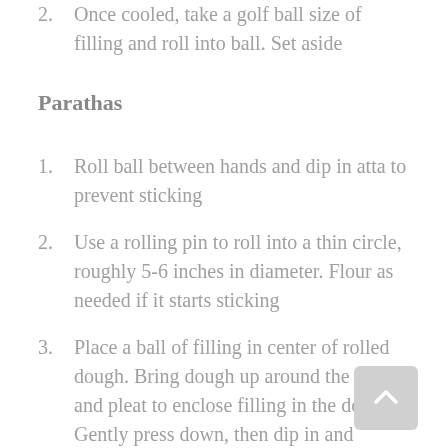2. Once cooled, take a golf ball size of filling and roll into ball. Set aside
Parathas
1. Roll ball between hands and dip in atta to prevent sticking
2. Use a rolling pin to roll into a thin circle, roughly 5-6 inches in diameter. Flour as needed if it starts sticking
3. Place a ball of filling in center of rolled dough. Bring dough up around the filling and pleat to enclose filling in the dough. Gently press down, then dip in and liberally flour. Use rolling pin to gently, and carefully start